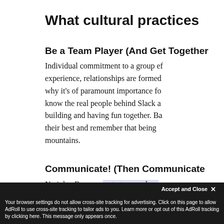What cultural practices
Be a Team Player (And Get Together
Individual commitment to a group ef... experience, relationships are formed... why it's of paramount importance fo... know the real people behind Slack a... building and having fun together. Ba... their best and remember that being... mountains.
Communicate! (Then Communicate
No joke. Because a startup can be a
challenge of asynchrono...
share plans and lessons learned W
Your browser settings do not allow cross-site tracking for advertising. Click on this page to allow AdRoll to use cross-site tracking to tailor ads to you. Learn more or opt out of this AdRoll tracking by clicking here. This message only appears once.